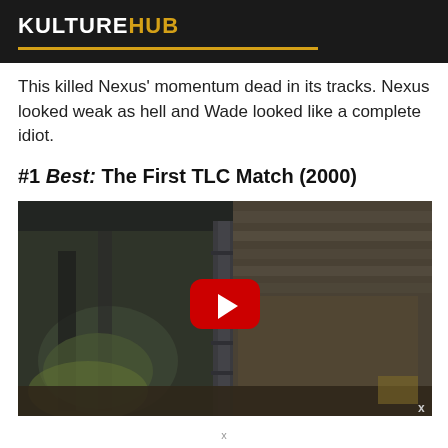KULTUREHUB
This killed Nexus' momentum dead in its tracks. Nexus looked weak as hell and Wade looked like a complete idiot.
#1 Best: The First TLC Match (2000)
[Figure (screenshot): Embedded YouTube video thumbnail showing a wrestling event crowd scene with a red YouTube play button overlay. An 'x' close button is visible in the bottom right corner.]